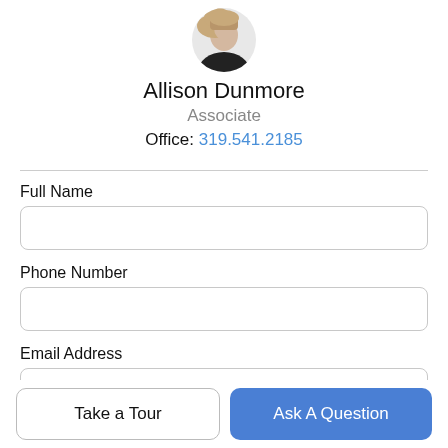[Figure (photo): Circular profile photo of a woman with blonde hair wearing a black outfit]
Allison Dunmore
Associate
Office: 319.541.2185
Full Name
Phone Number
Email Address
Take a Tour
Ask A Question